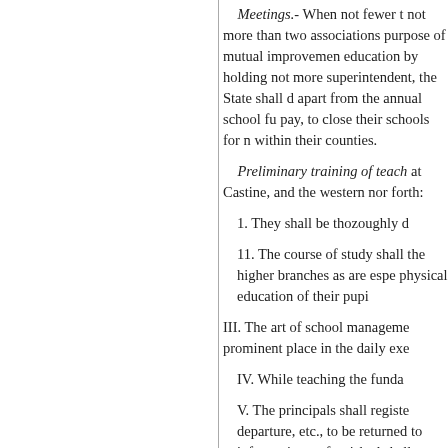Meetings.- When not fewer than not more than two associations purpose of mutual improvement education by holding not more superintendent, the State shall d apart from the annual school fu pay, to close their schools for n within their counties.
Preliminary training of teach at Castine, and the western nor forth:
1. They shall be thozoughly d
11. The course of study shall the higher branches as are espe physical education of their pupi
III. The art of school manageme prominent place in the daily exe
IV. While teaching the funda
V. The principals shall registe departure, etc., to be returned to information so furnished shall a